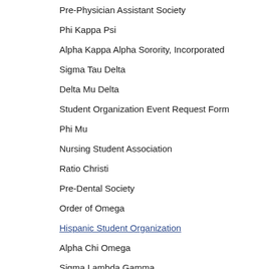Pre-Physician Assistant Society
Phi Kappa Psi
Alpha Kappa Alpha Sorority, Incorporated
Sigma Tau Delta
Delta Mu Delta
Student Organization Event Request Form
Phi Mu
Nursing Student Association
Ratio Christi
Pre-Dental Society
Order of Omega
Hispanic Student Organization
Alpha Chi Omega
Sigma Lambda Gamma
Pre-Optometry Professional Society
Pre-Law Society
Beta Beta Beta